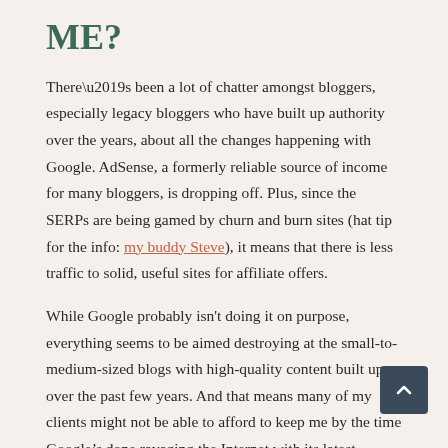ME?
There’s been a lot of chatter amongst bloggers, especially legacy bloggers who have built up authority over the years, about all the changes happening with Google. AdSense, a formerly reliable source of income for many bloggers, is dropping off. Plus, since the SERPs are being gamed by churn and burn sites (hat tip for the info: my buddy Steve), it means that there is less traffic to solid, useful sites for affiliate offers.
While Google probably isn't doing it on purpose, everything seems to be aimed destroying at the small-to-medium-sized blogs with high-quality content built up over the past few years. And that means many of my clients might not be able to afford to keep me by the time Google’s done ravaging the Internet with its latest algorithm changes. I can't even rely on Google Authorship to save me because